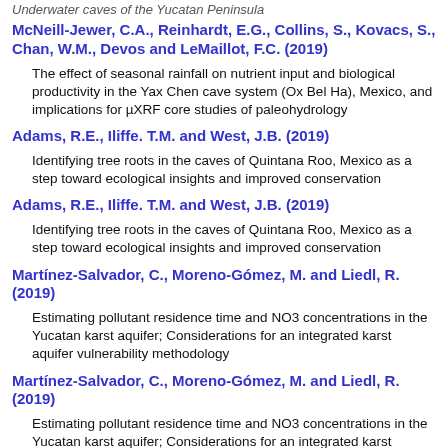Underwater caves of the Yucatan Peninsula
McNeill-Jewer, C.A., Reinhardt, E.G., Collins, S., Kovacs, S., Chan, W.M., Devos and LeMaillot, F.C. (2019)
The effect of seasonal rainfall on nutrient input and biological productivity in the Yax Chen cave system (Ox Bel Ha), Mexico, and implications for µXRF core studies of paleohydrology
Adams, R.E., Iliffe. T.M. and West, J.B. (2019)
Identifying tree roots in the caves of Quintana Roo, Mexico as a step toward ecological insights and improved conservation
Adams, R.E., Iliffe. T.M. and West, J.B. (2019)
Identifying tree roots in the caves of Quintana Roo, Mexico as a step toward ecological insights and improved conservation
Martínez-Salvador, C., Moreno-Gómez, M. and Liedl, R. (2019)
Estimating pollutant residence time and NO3 concentrations in the Yucatan karst aquifer; Considerations for an integrated karst aquifer vulnerability methodology
Martínez-Salvador, C., Moreno-Gómez, M. and Liedl, R. (2019)
Estimating pollutant residence time and NO3 concentrations in the Yucatan karst aquifer; Considerations for an integrated karst aquifer vulnerability methodology